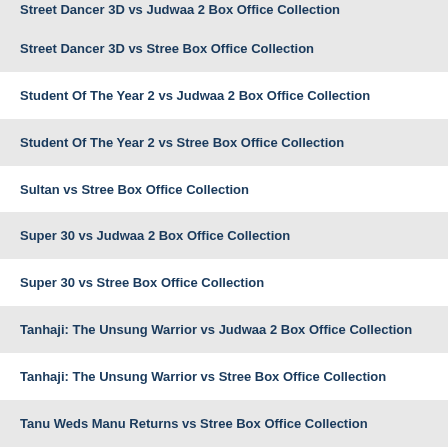Street Dancer 3D vs Judwaa 2 Box Office Collection
Street Dancer 3D vs Stree Box Office Collection
Student Of The Year 2 vs Judwaa 2 Box Office Collection
Student Of The Year 2 vs Stree Box Office Collection
Sultan vs Stree Box Office Collection
Super 30 vs Judwaa 2 Box Office Collection
Super 30 vs Stree Box Office Collection
Tanhaji: The Unsung Warrior vs Judwaa 2 Box Office Collection
Tanhaji: The Unsung Warrior vs Stree Box Office Collection
Tanu Weds Manu Returns vs Stree Box Office Collection